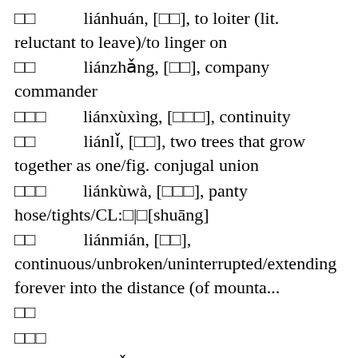□□ liánhuán, [□□], to loiter (lit. reluctant to leave)/to linger on
□□ liánzhǎng, [□□], company commander
□□□ liánxùxìng, [□□□], continuity
□□ liánlǐ, [□□], two trees that grow together as one/fig. conjugal union
□□□ liánkùwà, [□□□], panty hose/tights/CL:□|□[shuāng]
□□ liánmián, [□□], continuous/unbroken/uninterrupted/extending forever into the distance (of mounta...
□□
□□□
□□ liánzǎi, [□□], serialized/published as a serial (in a newspaper)
□□ niánlián/zhānlián, [□□], to adhere/to stick together, adhesion/to adhere/to cohere/to stick